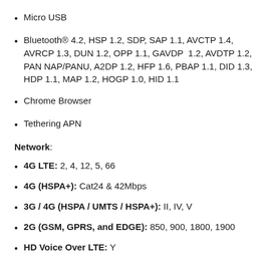Micro USB
Bluetooth® 4.2, HSP 1.2, SDP, SAP 1.1, AVCTP 1.4, AVRCP 1.3, DUN 1.2, OPP 1.1, GAVDP 1.2, AVDTP 1.2, PAN NAP/PANU, A2DP 1.2, HFP 1.6, PBAP 1.1, DID 1.3, HDP 1.1, MAP 1.2, HOGP 1.0, HID 1.1
Chrome Browser
Tethering APN
Network:
4G LTE: 2, 4, 12, 5, 66
4G (HSPA+): Cat24 & 42Mbps
3G / 4G (HSPA / UMTS / HSPA+): II, IV, V
2G (GSM, GPRS, and EDGE): 850, 900, 1800, 1900
HD Voice Over LTE: Yes